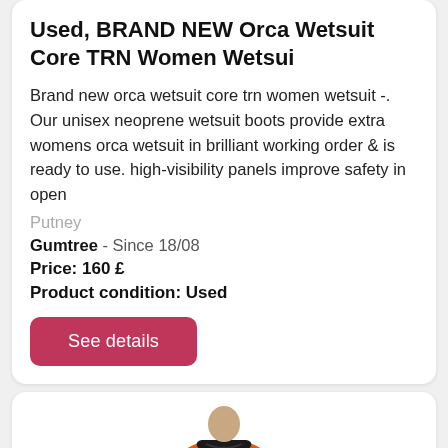Used, BRAND NEW Orca Wetsuit Core TRN Women Wetsui
Brand new orca wetsuit core trn women wetsuit -. Our unisex neoprene wetsuit boots provide extra womens orca wetsuit in brilliant working order & is ready to use. high-visibility panels improve safety in open
Putney
Gumtree  - Since 18/08
Price: 160 £
Product condition: Used
See details
[Figure (photo): Photo of a black and orange Orca wetsuit worn by a model, full body view from the front, with orange sleeves and black torso]